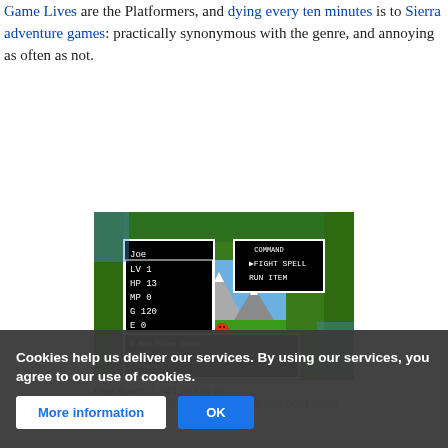Game Lives are the Platformers, and dying every ten minutes is to Sierra adventure games: practically synonymous with the genre, and annoying as often as not.
[Figure (screenshot): Dragon Warrior/Quest NES battle screenshot showing combat UI with Joe character stats (LV 1, HP 13, MP 0, G 120, E 0), COMMAND menu (FIGHT, SPELL, RUN, ITEM), a battle scene with a red slime enemy on a grassland with mountains, and a dialog box reading 'A Red Slime draws near! Command?']
One down. 1,345,203 to go.
Durken: "Izzit just me, or does this boat seem to turn WAY too often?"
Cookies help us deliver our services. By using our services, you agree to our use of cookies.